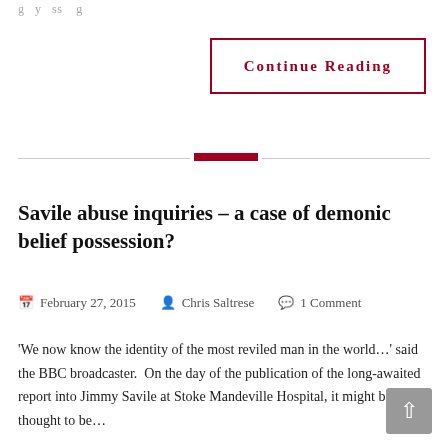g…y ss g…
Continue Reading
Savile abuse inquiries – a case of demonic belief possession?
February 27, 2015   Chris Saltrese   1 Comment
'We now know the identity of the most reviled man in the world…' said the BBC broadcaster.  On the day of the publication of the long-awaited report into Jimmy Savile at Stoke Mandeville Hospital, it might be thought to be…